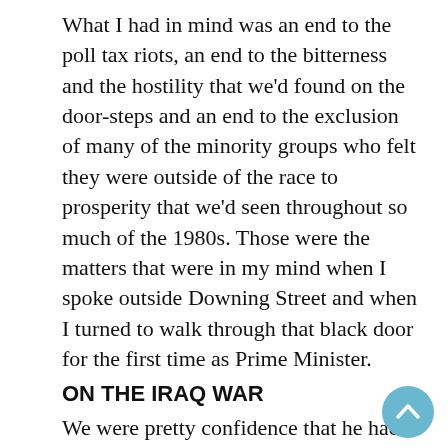What I had in mind was an end to the poll tax riots, an end to the bitterness and the hostility that we'd found on the door-steps and an end to the exclusion of many of the minority groups who felt they were outside of the race to prosperity that we'd seen throughout so much of the 1980s. Those were the matters that were in my mind when I spoke outside Downing Street and when I turned to walk through that black door for the first time as Prime Minister.
ON THE IRAQ WAR
We were pretty confidence that he had both chemical and biological weapons, it was the biggest fear as we came up to the Gulf War. He was given an unmistakeable message that the response would be dramatic if he choose to use that sort of weapon in the conflict to come. He was told diplomatically precisely the scale of the response